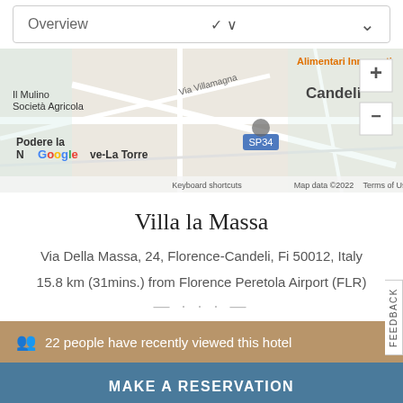Overview
[Figure (map): Google Maps view showing area around Villa la Massa in Florence-Candeli, Italy. Shows Alimentari Innocenti, Il Mulino Società Agricola, Via Villamagna, Candeli, Podere la Neve-La Torre, SP34 road marker, Google logo, and map controls. Map data ©2022.]
Villa la Massa
Via Della Massa, 24, Florence-Candeli, Fi 50012, Italy
15.8 km (31mins.) from Florence Peretola Airport (FLR)
22 people have recently viewed this hotel
MAKE A RESERVATION